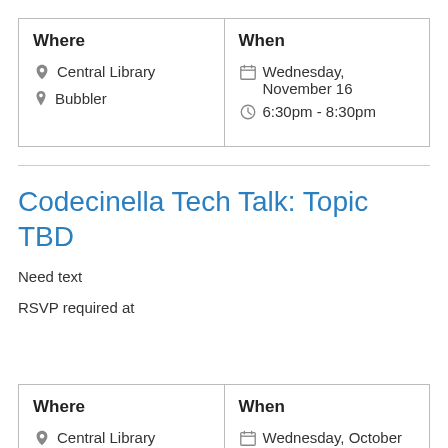| Where | When |
| --- | --- |
| Central Library
Bubbler | Wednesday, November 16
6:30pm - 8:30pm |
Codecinella Tech Talk: Topic TBD
Need text
RSVP required at
| Where | When |
| --- | --- |
| Central Library
Conference Room 104 | Wednesday, October 19
6:30pm - 8:30pm |